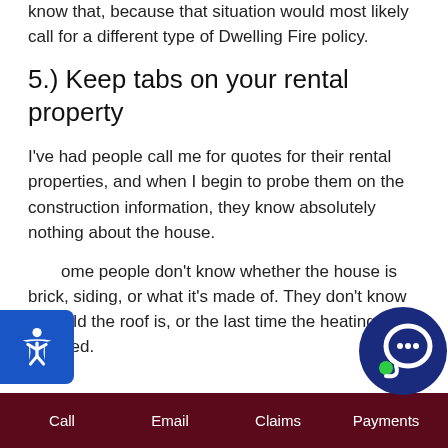know that, because that situation would most likely call for a different type of Dwelling Fire policy.
5.) Keep tabs on your rental property
I've had people call me for quotes for their rental properties, and when I begin to probe them on the construction information, they know absolutely nothing about the house.
Some people don't know whether the house is brick, siding, or what it's made of. They don't know how old the roof is, or the last time the heating was updated.
Call   Email   Claims   Payments